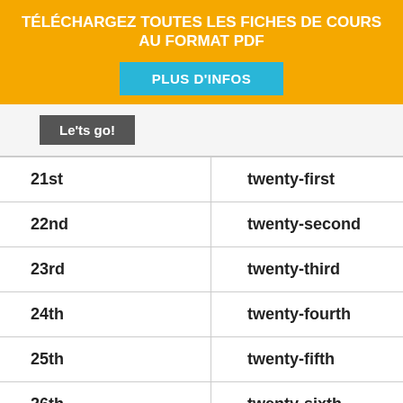TÉLÉCHARGEZ TOUTES LES FICHES DE COURS AU FORMAT PDF
PLUS D'INFOS
Le'ts go!
| 21st | twenty-first |
| 22nd | twenty-second |
| 23rd | twenty-third |
| 24th | twenty-fourth |
| 25th | twenty-fifth |
| 26th | twenty-sixth |
| 27th | twenty-seventh |